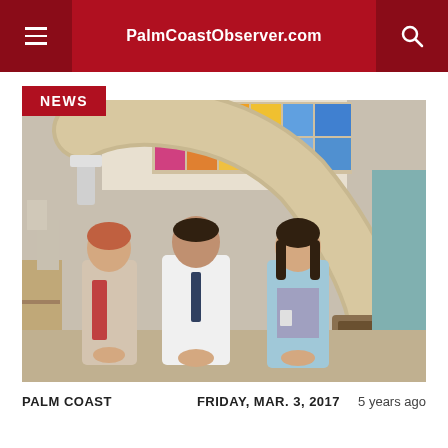PalmCoastObserver.com
[Figure (photo): Three people (two women and a man in a white doctor's coat) standing in front of a large medical radiation therapy machine (linear accelerator) in a treatment room with a colorful illuminated ceiling panel.]
NEWS
PALM COAST   FRIDAY, MAR. 3, 2017   5 years ago